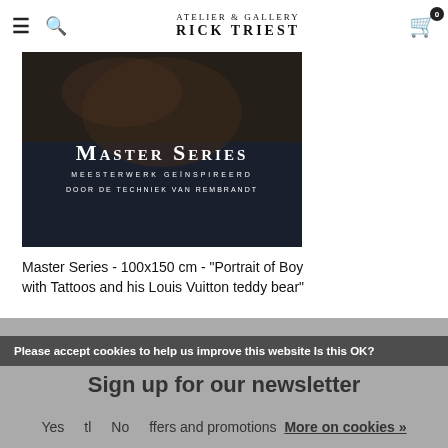Atelier & Gallery Rick Triest
[Figure (photo): Master Series promotional image with dark background showing portrait artwork. Text reads MASTER SERIES, MEESTERWERK GEÏNSPIREERD, DOOR DE TECHNIEK VAN REMBRANDT]
Master Series - 100x150 cm - "Portrait of Boy with Tattoos and his Louis Vuitton teddy bear"
€0,00
Please accept cookies to help us improve this website Is this OK?
Sign up for our newsletter
Yes   No   More on cookies »
ffers and promotions